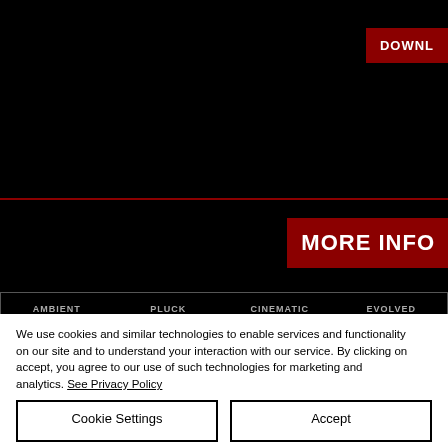[Figure (screenshot): Dark website interface with black background, red 'DOWNL...' button top right, red horizontal separator line, red 'MORE INFO...' button on right, and tab bar with labels AMBIENT, PLUCK, CINEMATIC, EVOLVED]
We use cookies and similar technologies to enable services and functionality on our site and to understand your interaction with our service. By clicking on accept, you agree to our use of such technologies for marketing and analytics. See Privacy Policy
Cookie Settings
Accept